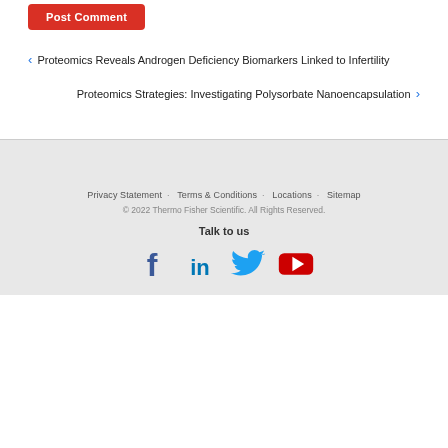Post Comment
< Proteomics Reveals Androgen Deficiency Biomarkers Linked to Infertility
Proteomics Strategies: Investigating Polysorbate Nanoencapsulation >
Privacy Statement · Terms & Conditions · Locations · Sitemap
© 2022 Thermo Fisher Scientific. All Rights Reserved.
Talk to us